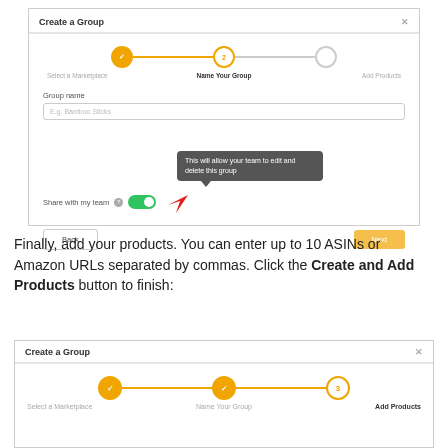[Figure (screenshot): Create a Group modal dialog, step 2 'Name Your Group'. Shows a stepper with step 1 completed (orange checkmark), step 2 active (orange circle with '2'), step 3 inactive. Group name input field with placeholder 'E.g. Bamboo Sticks'. A tooltip reads 'This will allow your team to edit and delete this group'. Share with my team toggle (green, on). A red arrow points to the toggle. Back and Next buttons.]
Finally, add your products. You can enter up to 10 ASINs or Amazon URLs separated by commas. Click the Create and Add Products button to finish:
[Figure (screenshot): Create a Group modal dialog, step 3 'Add Products'. Shows a stepper with steps 1 and 2 completed (orange checkmarks), step 3 active (orange circle with '3'). Step labels: Select a Marketplace, Name Your Group, Add Products (bold).]